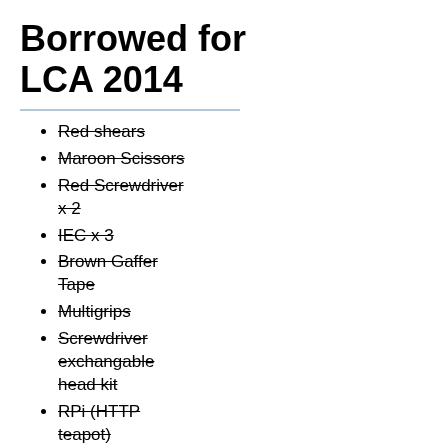Borrowed for LCA 2014
Red shears
Maroon Scissors
Red Screwdriver x 2
IEC x 3
Brown Gaffer Tape
Multigrips
Screwdriver exchangable head kit
RPi (HTTP teapot)
RPi
Allen Key
Step ladder
Asphalt
Coconut